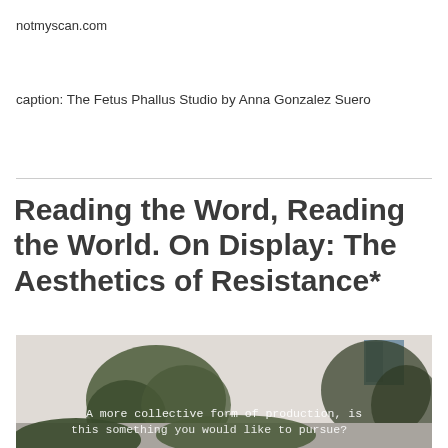notmyscan.com
caption: The Fetus Phallus Studio by Anna Gonzalez Suero
Reading the Word, Reading the World. On Display: The Aesthetics of Resistance*
[Figure (photo): Outdoor photo of a building with trees in front; overlaid text reads: A more collective form of production, is this something you would like to pursue?]